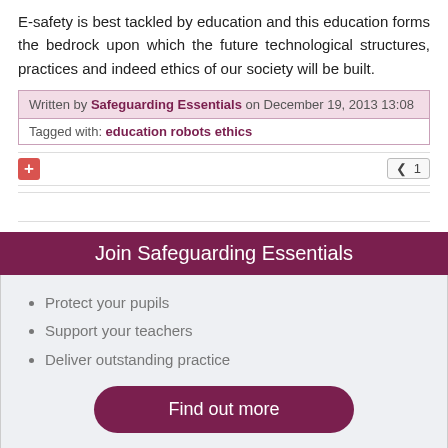E-safety is best tackled by education and this education forms the bedrock upon which the future technological structures, practices and indeed ethics of our society will be built.
Written by Safeguarding Essentials on December 19, 2013 13:08
Tagged with: education robots ethics
Join Safeguarding Essentials
Protect your pupils
Support your teachers
Deliver outstanding practice
Find out more
Recent Stories